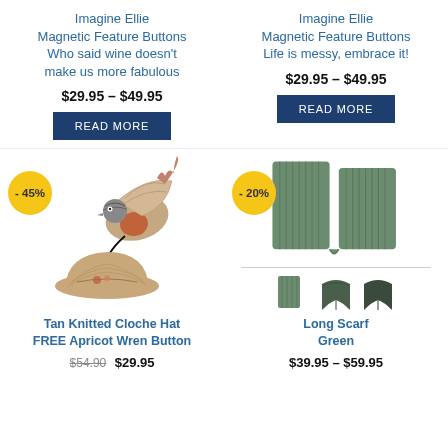Imagine Ellie Magnetic Feature Buttons Who said wine doesn't make us more fabulous
$29.95 – $49.95
READ MORE
Imagine Ellie Magnetic Feature Buttons Life is messy, embrace it!
$29.95 – $49.95
READ MORE
[Figure (photo): Tan knitted cloche hat with a decorative bird (Apricot Wren Button) illustration, -45% badge]
Tan Knitted Cloche Hat FREE Apricot Wren Button
$54.90  $29.95
[Figure (photo): Green ribbed long scarf folded, with thumbnail variants, -20% badge]
Long Scarf Green
$39.95 – $59.95